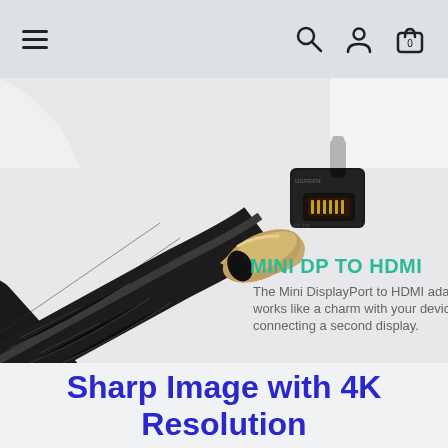Navigation bar with hamburger menu, search, user, and cart icons
[Figure (photo): Photo of a Mini DisplayPort to HDMI cable adapter — braided black cable with gold/champagne metal connector on the left, plugging into a black rectangular HDMI female adapter on the right. The background is light gray. Overlaid text reads: MINI DP TO HDMI — The Mini DisplayPort to HDMI adapter works like a charm with your devices for connecting a second display.]
Sharp Image with 4K Resolution